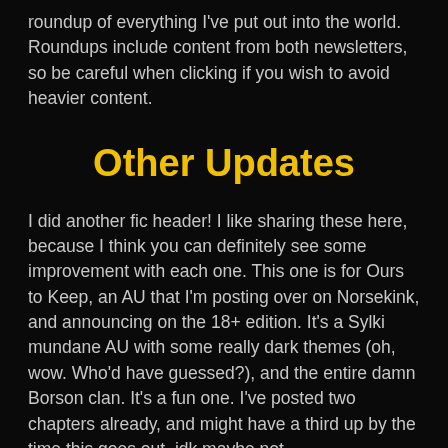roundup of everything I've put out into the world. Roundups include content from both newsletters, so be careful when clicking if you wish to avoid heavier content.
Other Updates
I did another fic header!  I like sharing these here, because I think you can definitely see some improvement with each one.  This one is for Ours to Keep, an AU that I'm posting over on Norsekink, and announcing on the 18+ edition.  It's a Sylki mundane AU with some really dark themes (oh, wow.  Who'd have guessed?), and the entire damn Borson clan.  It's a fun one.  I've posted two chapters already, and might have a third up by the time this goes out.  idk maybe not.